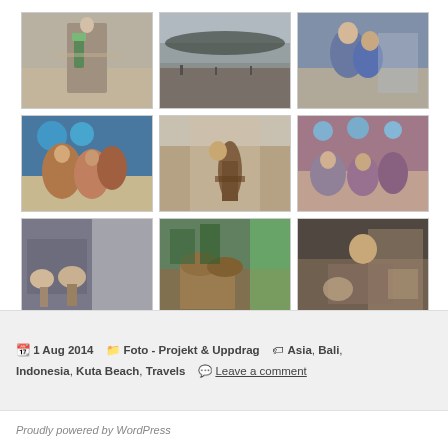[Figure (photo): 3x3 grid of 9 beach/travel photographs from Kuta Beach, Bali, Indonesia. Row 1: man with beer bottle on beach, black & white beach panorama with trees, couple embracing on beach at dusk. Row 2: group of people sitting on beach with umbrellas, person carrying surfboard on sandy slope, crowd of people sitting on beach. Row 3: hands exchanging something near a window, market stall with food/goods, man relaxing in a chair indoors.]
1 Aug 2014   Foto - Projekt & Uppdrag   Asia, Bali, Indonesia, Kuta Beach, Travels   Leave a comment
Proudly powered by WordPress